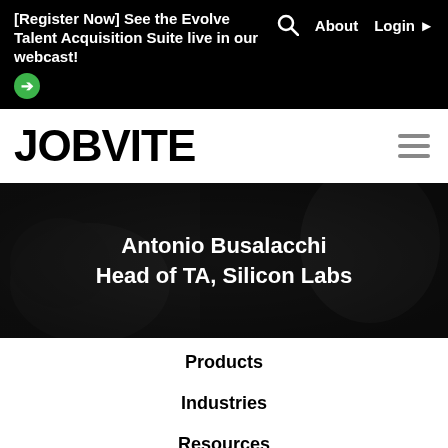[Register Now] See the Evolve Talent Acquisition Suite live in our webcast!
About   Login
JOBVITE
[Figure (photo): Dark hero image with a person in the background, overlaid with bold white text reading 'Antonio Busalacchi Head of TA, Silicon Labs']
Products
Industries
Resources
Support